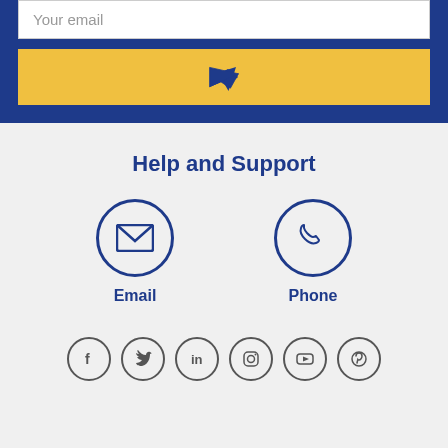Your email
[Figure (infographic): Yellow send button with paper plane icon]
Help and Support
[Figure (infographic): Email icon in navy circle with label Email and Phone icon in navy circle with label Phone]
[Figure (infographic): Social media icons row: Facebook, Twitter, LinkedIn, Instagram, YouTube, Pinterest]